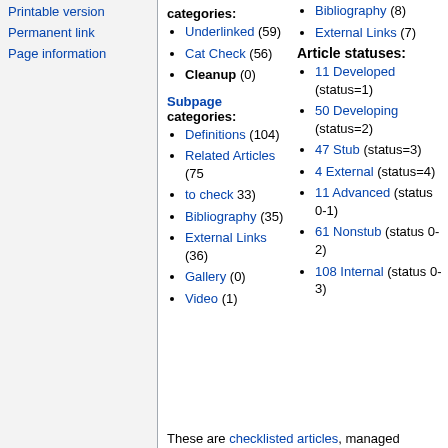Printable version
Permanent link
Page information
categories:
Underlinked (59)
Cat Check (56)
Cleanup (0)
Subpage categories:
Definitions (104)
Related Articles (75
to check 33)
Bibliography (35)
External Links (36)
Gallery (0)
Video (1)
Bibliography (8)
External Links (7)
Article statuses:
11 Developed (status=1)
50 Developing (status=2)
47 Stub (status=3)
4 External (status=4)
11 Advanced (status 0-1)
61 Nonstub (status 0-2)
108 Internal (status 0-3)
These are checklisted articles, managed